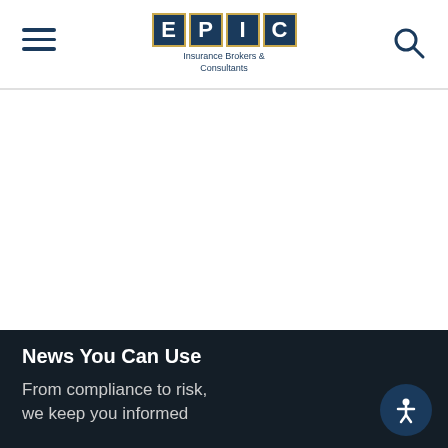[Figure (logo): EPIC Insurance Brokers & Consultants logo with hamburger menu and search icon in navigation header]
News You Can Use
From compliance to risk, we keep you informed